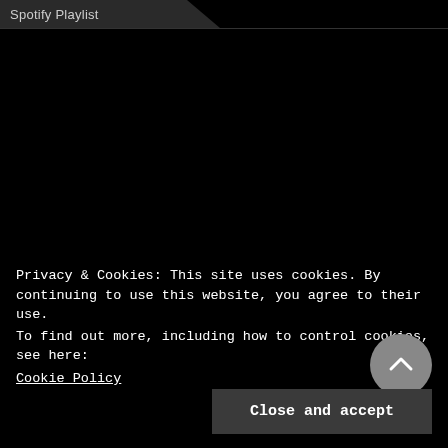Spotify Playlist
Privacy & Cookies: This site uses cookies. By continuing to use this website, you agree to their use.
To find out more, including how to control cookies, see here: Cookie Policy
Close and accept